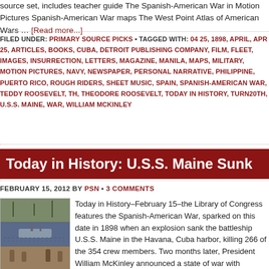source set, includes teacher guide The Spanish-American War in Motion Pictures Spanish-American War maps The West Point Atlas of American Wars … [Read more...]
FILED UNDER: PRIMARY SOURCE PICKS • TAGGED WITH: 04 25, 1898, APRIL, APR 25, ARTICLES, BOOKS, CUBA, DETROIT PUBLISHING COMPANY, FILM, FLEET, IMAGES, INSURRECTION, LETTERS, MAGAZINE, MANILA, MAPS, MILITARY, MOTION PICTURES, NAVY, NEWSPAPER, PERSONAL NARRATIVE, PHILIPPINE, PUERTO RICO, ROUGH RIDERS, SHEET MUSIC, SPAIN, SPANISH-AMERICAN WAR, TEDDY ROOSEVELT, TH, THEODORE ROOSEVELT, TODAY IN HISTORY, TURN20TH, U.S.S. MAINE, WAR, WILLIAM MCKINLEY
Today in History: U.S.S. Maine Sunk
FEBRUARY 15, 2012 BY PSN • 3 COMMENTS
[Figure (photo): Thumbnail image related to the U.S.S. Maine and Spanish-American War]
Today in History–February 15–the Library of Congress features the Spanish-American War, sparked on this date in 1898 when an explosion sank the battleship U.S.S. Maine in the Havana, Cuba harbor, killing 266 of the 354 crew members. Two months later, President William McKinley announced a state of war with Spain…